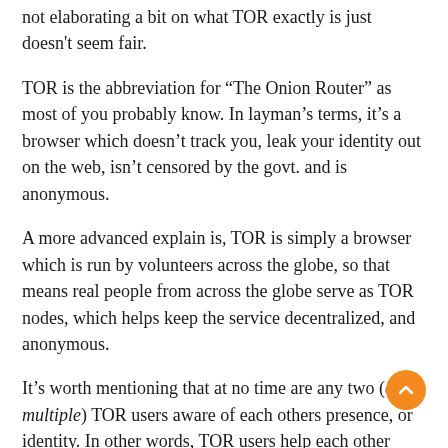not elaborating a bit on what TOR exactly is just doesn't seem fair.
TOR is the abbreviation for “The Onion Router” as most of you probably know. In layman’s terms, it’s a browser which doesn’t track you, leak your identity out on the web, isn’t censored by the govt. and is anonymous.
A more advanced explain is, TOR is simply a browser which is run by volunteers across the globe, so that means real people from across the globe serve as TOR nodes, which helps keep the service decentralized, and anonymous.
It’s worth mentioning that at no time are any two (or multiple) TOR users aware of each others presence, or identity. In other words, TOR users help each other without compromising each other’s identity or security.